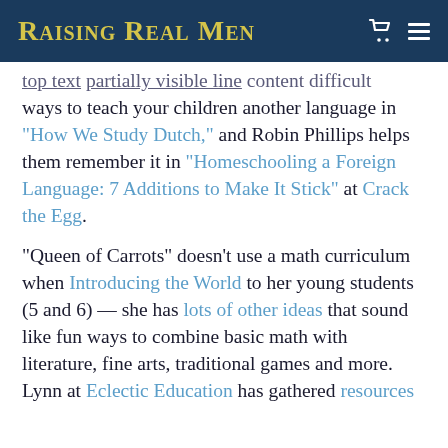Raising Real Men
ways to teach your children another language in “How We Study Dutch,” and Robin Phillips helps them remember it in “Homeschooling a Foreign Language: 7 Additions to Make It Stick” at Crack the Egg.
“Queen of Carrots” doesn’t use a math curriculum when Introducing the World to her young students (5 and 6) — she has lots of other ideas that sound like fun ways to combine basic math with literature, fine arts, traditional games and more. Lynn at Eclectic Education has gathered resources